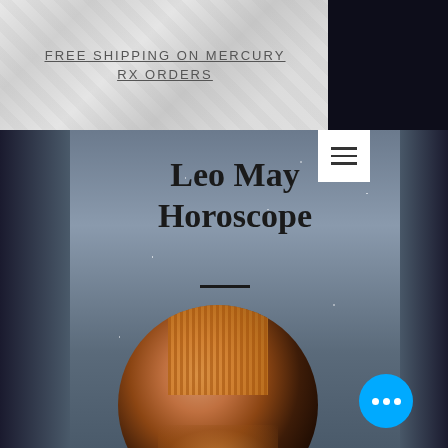FREE SHIPPING ON MERCURY RX ORDERS
Leo May Horoscope
[Figure (photo): Circular portrait of a woman wearing an elaborate golden headdress with vertical decorative fringe strands, photographed in dramatic warm golden lighting against a blurred background.]